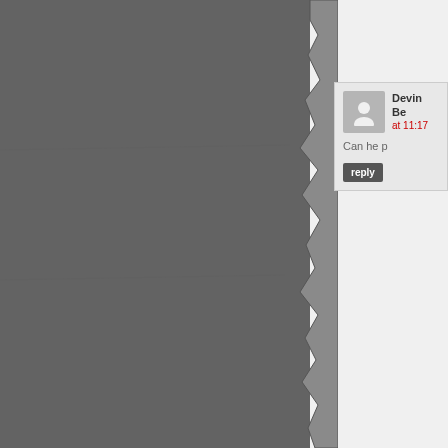[Figure (illustration): Dark gray torn paper texture on the left side of the page, with a rough torn edge on the right side of the panel]
[Figure (screenshot): Comment section showing user avatar (gray silhouette), username 'Devin Be' (truncated), timestamp 'at 11:17' in red, comment text 'Can he p' (truncated), and a dark 'reply' button]
[Figure (illustration): Dark gray textured background with ink splatter/blob shapes, a white arrow pointing right, and bold white text 'Hav' (truncated, part of 'Have your say' or similar), with input form fields below]